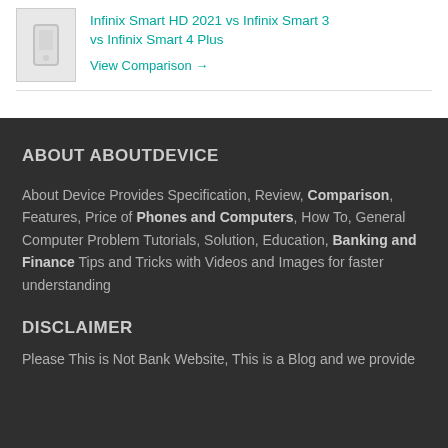Infinix Smart HD 2021 vs Infinix Smart 3 vs Infinix Smart 4 Plus
View Comparison →
ABOUT ABOUTDEVICE
About Device Provides Specification, Review, Comparison, Features, Price of Phones and Computers, How To, General Computer Problem Tutorials, Solution, Education, Banking and Finance Tips and Tricks with Videos and Images for faster understanding
DISCLAIMER
Please This is Not Bank Website, This is a Blog and we provide